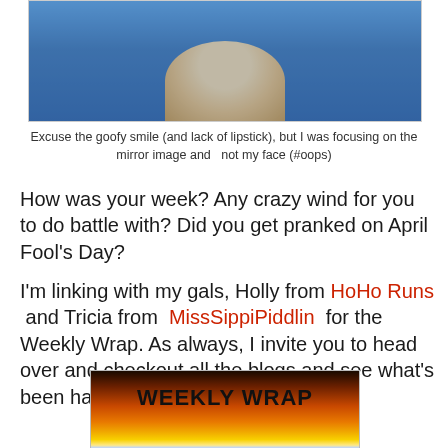[Figure (photo): Photo of a person with blonde hair wearing a blue top, cropped at the top of the page]
Excuse the goofy smile (and lack of lipstick), but I was focusing on the mirror image and  not my face (#oops)
How was your week? Any crazy wind for you to do battle with? Did you get pranked on April Fool's Day?
I'm linking with my gals, Holly from HoHo Runs  and Tricia from  MissSippiPiddlin  for the Weekly Wrap. As always, I invite you to head over and checkout all the blogs and see what's been happening!
[Figure (photo): Weekly Wrap badge image showing a sunset with text 'Weekly Wrap' in script lettering]